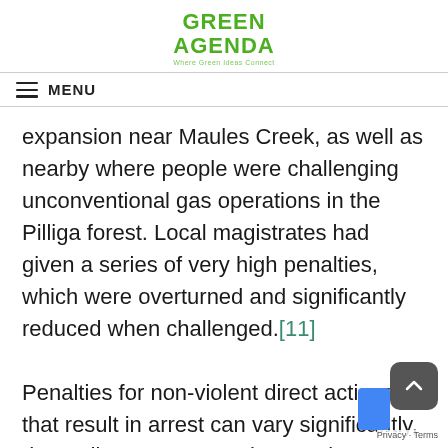GREEN AGENDA
Where Green Ideas Connect
≡ MENU
expansion near Maules Creek, as well as nearby where people were challenging unconventional gas operations in the Pilliga forest. Local magistrates had given a series of very high penalties, which were overturned and significantly reduced when challenged.[11]
Penalties for non-violent direct actions that result in arrest can vary significantly, depending on the magistrate, the political context and surrounding circumstances. An obstructionist action that